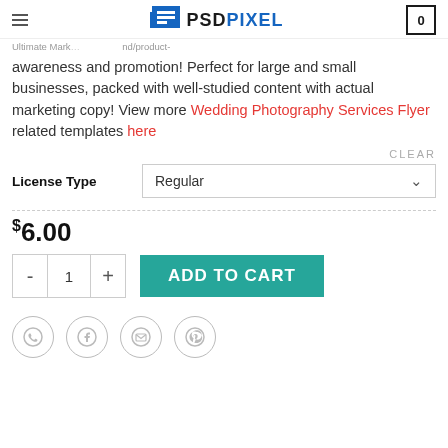PSDPixel | Ultimate Marketing... /nd/product- | 0
awareness and promotion! Perfect for large and small businesses, packed with well-studied content with actual marketing copy! View more Wedding Photography Services Flyer related templates here
CLEAR
License Type  Regular
$6.00
- 1 + ADD TO CART
[Figure (other): Social sharing icons: WhatsApp, Facebook, Email, Pinterest]